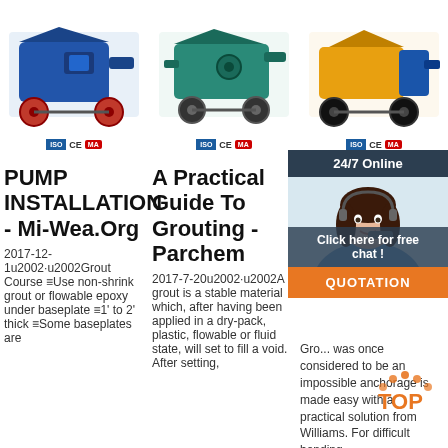[Figure (photo): Blue grout pump machine on wheels]
[Figure (photo): Teal/green grout pump machine]
[Figure (photo): Yellow and blue grout pump machine on wheels]
ISO CE MA (certification badges for first machine)
ISO CE MA (certification badges for second machine)
ISO CE MA (certification badges for third machine)
PUMP INSTALLATION - Mi-Wea.Org
A Practical Guide To Grouting - Parchem
Grouting Works For Difficult Bonding Conditions
2017-12-1u2002·u2002Grout Course ≡Use non-shrink grout or flowable epoxy under baseplate ≡1' to 2' thick ≡Some baseplates are
2017-7-20u2002·u2002A grout is a stable material which, after having been applied in a dry-pack, plastic, flowable or fluid state, will set to fill a void. After setting,
Grouting was once considered to be an impossible anchorage is made easy with a practical solution from Williams. For difficult bonding
[Figure (photo): Customer service agent woman with headset, 24/7 Online chat widget with QUOTATION button]
[Figure (logo): TOP badge with orange dots]